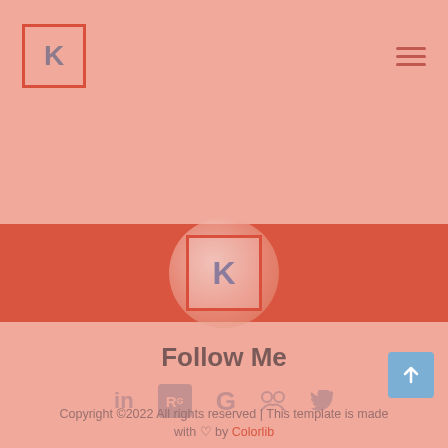[Figure (screenshot): Website header with a K logo box on the left and hamburger menu icon on the right, on a pink background]
[Figure (illustration): Red/coral horizontal banner strip]
[Figure (logo): Circular profile image with a K logo box inside, on a pink background]
Follow Me
[Figure (infographic): Row of social media icons: LinkedIn, ResearchGate (R squared), Google (G), Mendeley, Twitter]
Copyright ©2022 All rights reserved | This template is made with ♡ by Colorlib